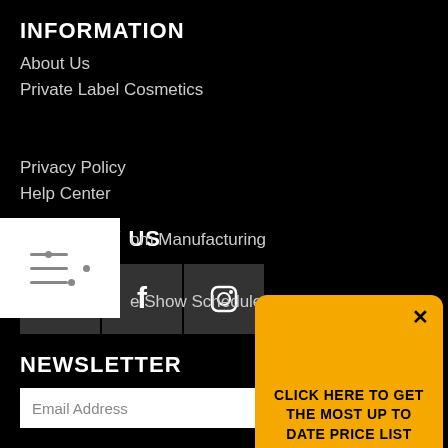INFORMATION
About Us
Private Label Cosmetics
Custom Manufacturing
Trade Show Schedule
Privacy Policy
Help Center
FOLLOW US
[Figure (infographic): Social media icons for YouTube, Facebook, and Instagram displayed as dark square buttons]
NEWSLETTER
Email Address
CONTACT INFORMATION
[Figure (infographic): Orange popup banner with close button (×) and text: CLICK HERE TO GET THE MOST UP TO DATE PRICE LIST]